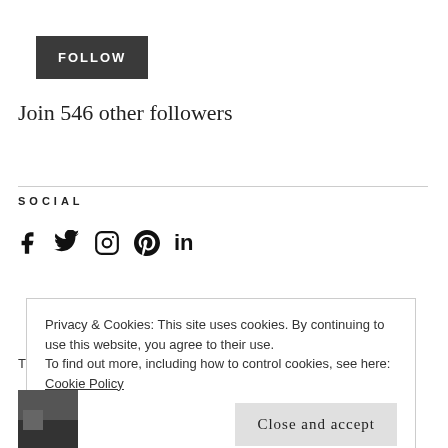[Figure (other): FOLLOW button — dark grey rectangle with white uppercase text 'FOLLOW']
Join 546 other followers
SOCIAL
[Figure (other): Social media icons: Facebook, Twitter, Instagram, Pinterest, LinkedIn]
Privacy & Cookies: This site uses cookies. By continuing to use this website, you agree to their use.
To find out more, including how to control cookies, see here: Cookie Policy
[Figure (other): Close and accept button — light grey button]